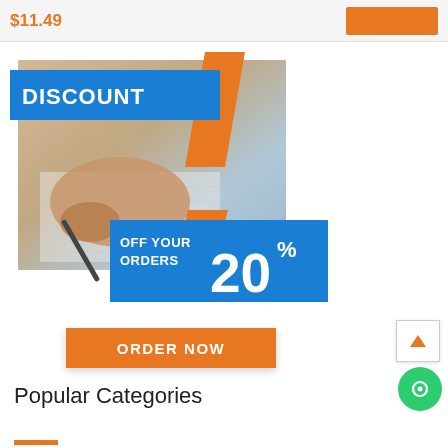$11.49
[Figure (infographic): Discount banner: blue and orange diagonal design with a photo of hands writing, text 'DISCOUNT', 'OFF YOUR ORDERS', '20%']
ORDER NOW
Popular Categories